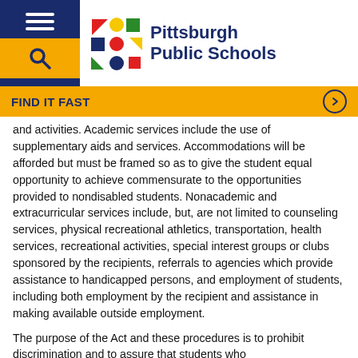[Figure (logo): Pittsburgh Public Schools logo with colorful geometric shapes and blue text]
FIND IT FAST
and activities. Academic services include the use of supplementary aids and services. Accommodations will be afforded but must be framed so as to give the student equal opportunity to achieve commensurate to the opportunities provided to nondisabled students. Nonacademic and extracurricular services include, but, are not limited to counseling services, physical recreational athletics, transportation, health services, recreational activities, special interest groups or clubs sponsored by the recipients, referrals to agencies which provide assistance to handicapped persons, and employment of students, including both employment by the recipient and assistance in making available outside employment.
The purpose of the Act and these procedures is to prohibit discrimination and to assure that students who